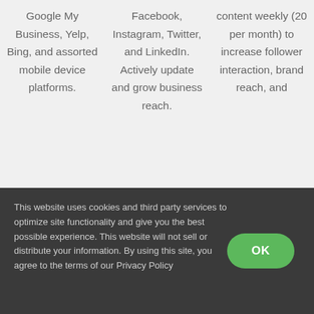Google My Business, Yelp, Bing, and assorted mobile device platforms.
Facebook, Instagram, Twitter, and LinkedIn. Actively update and grow business reach.
content weekly (20 per month) to increase follower interaction, brand reach, and
This website uses cookies and third party services to optimize site functionality and give you the best possible experience. This website will not sell or distribute your information. By using this site, you agree to the terms of our Privacy Policy